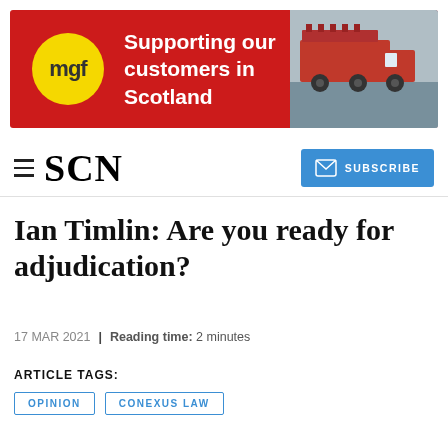[Figure (infographic): MGF advertisement banner with red background, MGF yellow circle logo on left, bold white text 'Supporting our customers in Scotland' in center, and photo of red truck on right]
SCN
Ian Timlin: Are you ready for adjudication?
17 MAR 2021 | Reading time: 2 minutes
ARTICLE TAGS:
OPINION
CONEXUS LAW